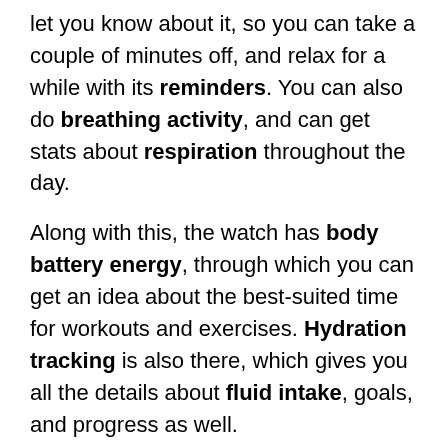let you know about it, so you can take a couple of minutes off, and relax for a while with its reminders. You can also do breathing activity, and can get stats about respiration throughout the day.
Along with this, the watch has body battery energy, through which you can get an idea about the best-suited time for workouts and exercises. Hydration tracking is also there, which gives you all the details about fluid intake, goals, and progress as well.
Since the Garmin lily is made for females, and that's why it has a female health tracking feature, which would allow them to prepare for their menstrual cycles on time, get info about different exercises and nutrition, right from their wrist.